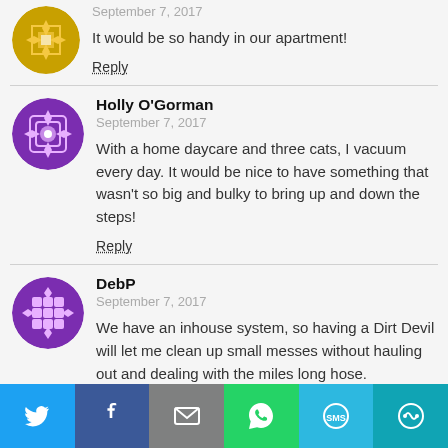September 7, 2017
It would be so handy in our apartment!
Reply
Holly O'Gorman
September 7, 2017
With a home daycare and three cats, I vacuum every day. It would be nice to have something that wasn't so big and bulky to bring up and down the steps!
Reply
DebP
September 7, 2017
We have an inhouse system, so having a Dirt Devil will let me clean up small messes without hauling out and dealing with the miles long hose.
Reply
[Figure (infographic): Social share bar with Twitter, Facebook, Email, WhatsApp, SMS, and More buttons]